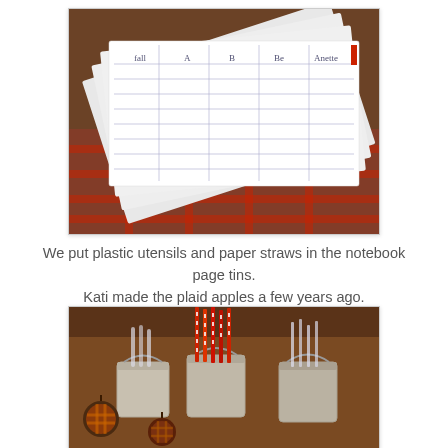[Figure (photo): Several notebook pages with grid lines fanned out on a red plaid tablecloth on a wooden surface.]
We put plastic utensils and paper straws in the notebook page tins.
Kati made the plaid apples a few years ago.
[Figure (photo): Three small metal bucket tins on a wooden table containing red and white paper straws and clear plastic utensils, with plaid fabric apples in the foreground.]